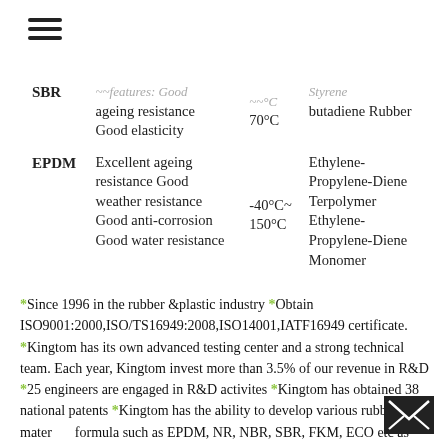[Figure (other): Hamburger menu icon with three horizontal lines]
| Code | Features | Temperature | Full Name |
| --- | --- | --- | --- |
| SBR | ~~features: Good ageing resistance Good elasticity | ~~°C 70°C | Styrene butadiene Rubber |
| EPDM | Excellent ageing resistance Good weather resistance Good anti-corrosion Good water resistance | -40°C~ 150°C | Ethylene-Propylene-Diene Terpolymer Ethylene-Propylene-Diene Monomer |
*Since 1996 in the rubber &plastic industry *Obtain ISO9001:2000,ISO/TS16949:2008,ISO14001,IATF16949 certificate. *Kingtom has its own advanced testing center and a strong technical team. Each year, Kingtom invest more than 3.5% of our revenue in R&D *25 engineers are engaged in R&D activites *Kingtom has obtained 38 national patents *Kingtom has the ability to develop various rubber materials formula such as EPDM, NR, NBR, SBR, FKM, ECO etc as
[Figure (other): Email envelope icon in dark/black background at bottom right corner]